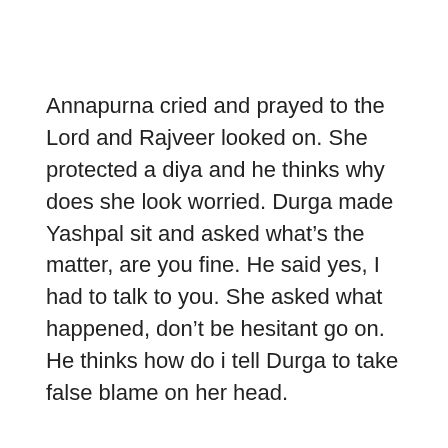Annapurna cried and prayed to the Lord and Rajveer looked on. She protected a diya and he thinks why does she look worried. Durga made Yashpal sit and asked what’s the matter, are you fine. He said yes, I had to talk to you. She asked what happened, don’t be hesitant go on. He thinks how do i tell Durga to take false blame on her head.
Precap:
Sanjay said I know your dad’s secret, I can make him do anything. Durga asked Annapurna about it